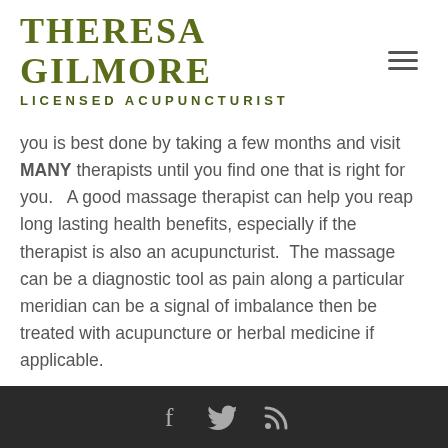THERESA GILMORE
LICENSED ACUPUNCTURIST
you is best done by taking a few months and visit MANY therapists until you find one that is right for you.   A good massage therapist can help you reap long lasting health benefits, especially if the therapist is also an acupuncturist.  The massage can be a diagnostic tool as pain along a particular meridian can be a signal of imbalance then be treated with acupuncture or herbal medicine if applicable.
[social icons: facebook, twitter, rss]